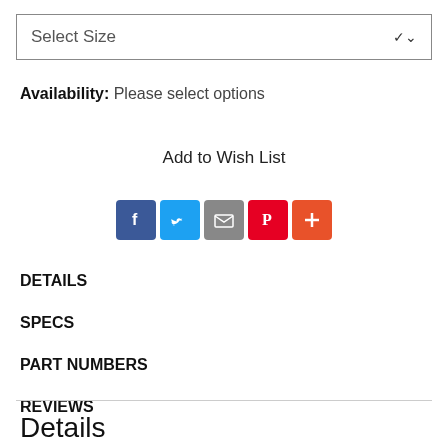Select Size
Availability: Please select options
Add to Wish List
[Figure (other): Social sharing icons: Facebook (blue), Twitter (light blue), Email (grey), Pinterest (red), More/Plus (orange-red)]
DETAILS
SPECS
PART NUMBERS
REVIEWS
Details